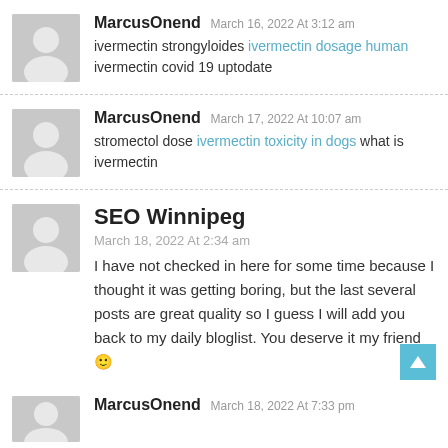MarcusOnend March 16, 2022 At 3:12 am
ivermectin strongyloides ivermectin dosage human ivermectin covid 19 uptodate
MarcusOnend March 17, 2022 At 10:07 am
stromectol dose ivermectin toxicity in dogs what is ivermectin
SEO Winnipeg March 18, 2022 At 2:34 am
I have not checked in here for some time because I thought it was getting boring, but the last several posts are great quality so I guess I will add you back to my daily bloglist. You deserve it my friend 🙂
MarcusOnend March 18, 2022 At 7:33 pm